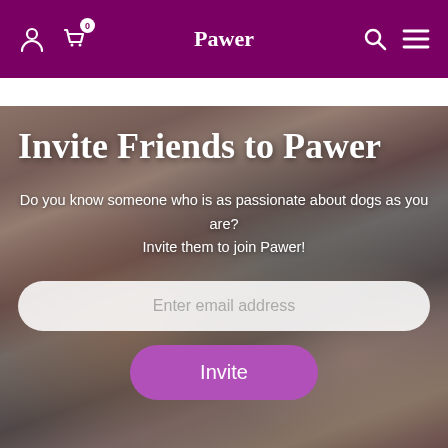Pawer
Invite Friends to Pawer
Do you know someone who is as passionate about dogs as you are?
Invite them to join Pawer!
Enter email address
Invite